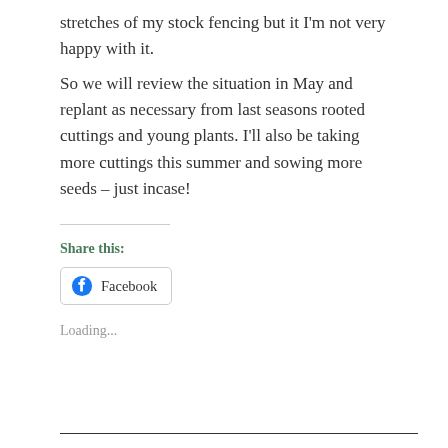stretches of my stock fencing but it I'm not very happy with it.
So we will review the situation in May and replant as necessary from last seasons rooted cuttings and young plants. I'll also be taking more cuttings this summer and sowing more seeds – just incase!
Share this:
[Figure (other): Facebook share button with Facebook logo icon]
Loading...